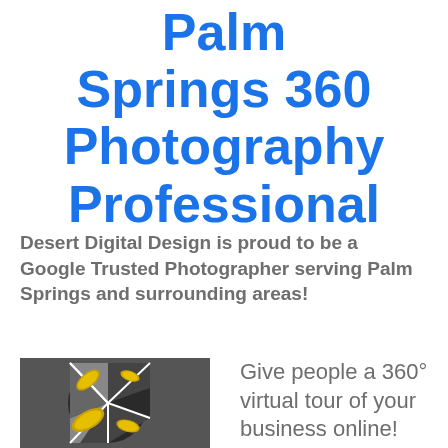Palm Springs 360 Photography Professional
Desert Digital Design is proud to be a Google Trusted Photographer serving Palm Springs and surrounding areas!
[Figure (logo): Camera shutter aperture logo with gold leaf shapes on dark grey/black background, Desert Digital Design logo]
Give people a 360° virtual tour of your business online! Whe...